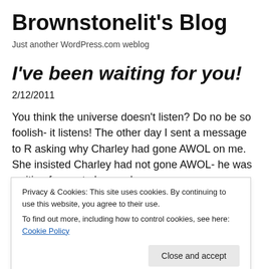Brownstonelit's Blog
Just another WordPress.com weblog
I've been waiting for you!
2/12/2011
You think the universe doesn't listen? Do no be so foolish- it listens! The other day I sent a message to R asking why Charley had gone AWOL on me. She insisted Charley had not gone AWOL- he was waiting for me to learn a lesson;
Privacy & Cookies: This site uses cookies. By continuing to use this website, you agree to their use.
To find out more, including how to control cookies, see here: Cookie Policy
Close and accept